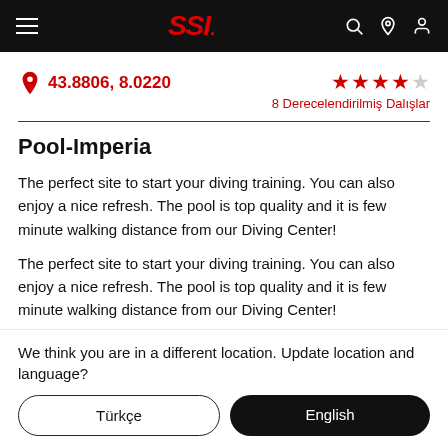[Figure (screenshot): SSI website navigation bar with hamburger menu, red SSI logo, and search/location/user icons on black background]
43.8806, 8.0220
8 Derecelendirilmiş Dalışlar
Pool-Imperia
The perfect site to start your diving training. You can also enjoy a nice refresh. The pool is top quality and it is few minute walking distance from our Diving Center!
The perfect site to start your diving training. You can also enjoy a nice refresh. The pool is top quality and it is few minute walking distance from our Diving Center!
We think you are in a different location. Update location and language?
Türkçe
English